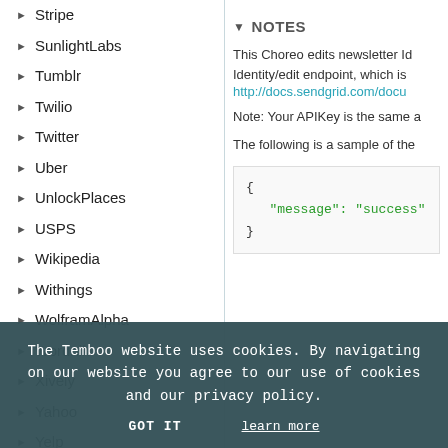Stripe
SunlightLabs
Tumblr
Twilio
Twitter
Uber
UnlockPlaces
USPS
Wikipedia
Withings
WolframAlpha
Wordnik
Xively
Yahoo
Yelp
YouTube
Zendesk
Zillow
NOTES
This Choreo edits newsletter Id Identity/edit endpoint, which is
http://docs.sendgrid.com/docu
Note: Your APIKey is the same a
The following is a sample of the
{ "message": "success" }
Utilities
Labs
The Temboo website uses cookies. By navigating on our website you agree to our use of cookies and our privacy policy.